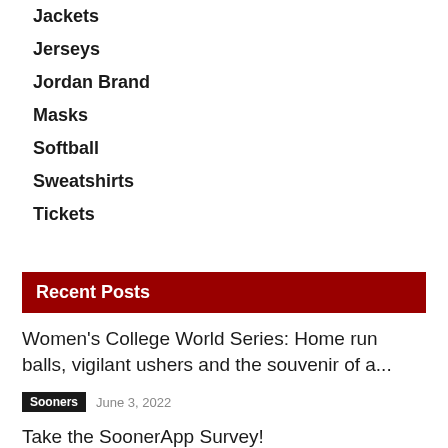Jackets
Jerseys
Jordan Brand
Masks
Softball
Sweatshirts
Tickets
Recent Posts
Women's College World Series: Home run balls, vigilant ushers and the souvenir of a...
Sooners  June 3, 2022
Take the SoonerApp Survey!